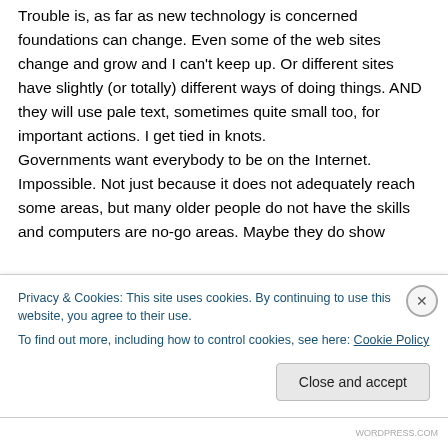Trouble is, as far as new technology is concerned foundations can change. Even some of the web sites change and grow and I can't keep up. Or different sites have slightly (or totally) different ways of doing things. AND they will use pale text, sometimes quite small too, for important actions. I get tied in knots.
Governments want everybody to be on the Internet. Impossible. Not just because it does not adequately reach some areas, but many older people do not have the skills and computers are no-go areas. Maybe they do show
Privacy & Cookies: This site uses cookies. By continuing to use this website, you agree to their use.
To find out more, including how to control cookies, see here: Cookie Policy
Close and accept